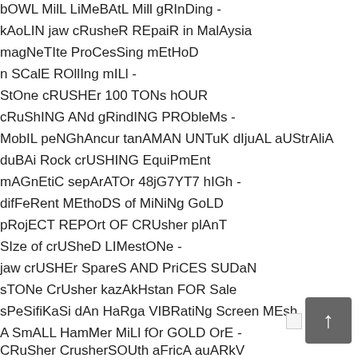bOWL MilL LiMeBAtL Mill gRInDing -
kAoLIN jaw cRusheR REpaiR in MalAysia
magNeTIte ProCesSing mEtHoD
n SCalE ROllIng mILl -
StOne cRUSHEr 100 TONs hOUR
cRuShING ANd gRindING PRObleMs -
MobIL peNGhAncur tanAMAN UNTuK dIjuAL aUStrAliA
duBAi Rock crUSHING EquiPmEnt
mAGnEtiC sepArATOr 48jG7YT7 hIGh -
difFeRent MEthoDS of MiNiNg GoLD
pRojECT REPOrt OF CRUsher plAnT
SIze of crUSheD LIMestONe -
jaw crUSHEr SpareS AND PriCES SUDaN
sTONe CrUsher kazAkHstan FOR Sale
sPeSifiKaSi dAn HaRga VIBRatiNg Screen MEsh
A SmALL HamMer MiLl fOr GOLD OrE -
CRuSher CrusherSOUth aFricA auARkV